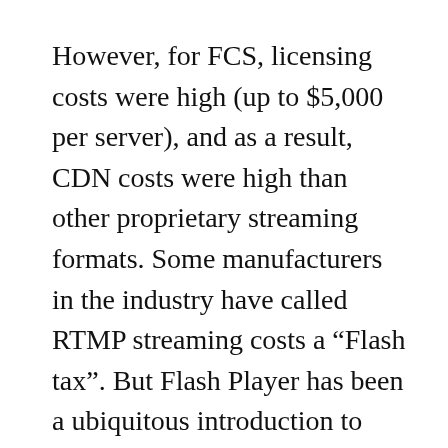However, for FCS, licensing costs were high (up to $5,000 per server), and as a result, CDN costs were high than other proprietary streaming formats. Some manufacturers in the industry have called RTMP streaming costs a “Flash tax”. But Flash Player has been a ubiquitous introduction to desktop browsers for well over a decade, much larger than other plug-ins. Though, streaming server technology has traditionally been harder for web developers to implement, and simpler HTTP delivery has mostly been easier and more cost-effective. In 2003, Macromedia enabled Flash Player 7 to support HTTP delivery of FLV files, allowing integrators to use standard web server